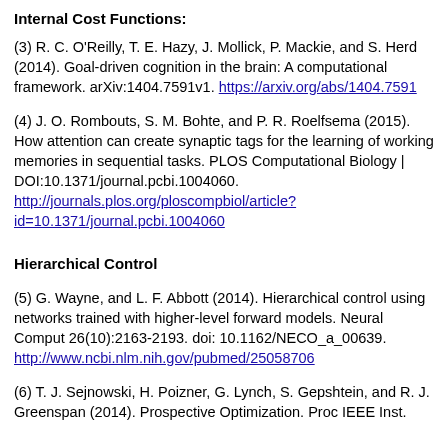Internal Cost Functions:
(3) R. C. O'Reilly, T. E. Hazy, J. Mollick, P. Mackie, and S. Herd (2014). Goal-driven cognition in the brain: A computational framework. arXiv:1404.7591v1. https://arxiv.org/abs/1404.7591
(4) J. O. Rombouts, S. M. Bohte, and P. R. Roelfsema (2015). How attention can create synaptic tags for the learning of working memories in sequential tasks. PLOS Computational Biology | DOI:10.1371/journal.pcbi.1004060. http://journals.plos.org/ploscompbiol/article?id=10.1371/journal.pcbi.1004060
Hierarchical Control
(5) G. Wayne, and L. F. Abbott (2014). Hierarchical control using networks trained with higher-level forward models. Neural Comput 26(10):2163-2193. doi: 10.1162/NECO_a_00639. http://www.ncbi.nlm.nih.gov/pubmed/25058706
(6) T. J. Sejnowski, H. Poizner, G. Lynch, S. Gepshtein, and R. J. Greenspan (2014). Prospective Optimization. Proc IEEE Inst.